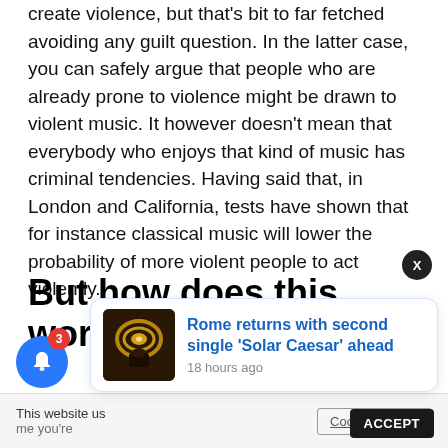create violence, but that's bit to far fetched avoiding any guilt question. In the latter case, you can safely argue that people who are already prone to violence might be drawn to violent music. It however doesn't mean that everybody who enjoys that kind of music has criminal tendencies. Having said that, in London and California, tests have shown that for instance classical music will lower the probability of more violent people to act violently.
But how does this work in casinos?
This website us
me you're
[Figure (photo): Notification card showing a thumbnail of a dark circular casino ceiling light with a person below it, with text: Rome returns with second single 'Solar Caesar' ahead, 18 hours ago]